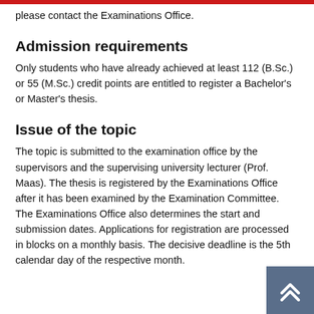please contact the Examinations Office.
Admission requirements
Only students who have already achieved at least 112 (B.Sc.) or 55 (M.Sc.) credit points are entitled to register a Bachelor's or Master's thesis.
Issue of the topic
The topic is submitted to the examination office by the supervisors and the supervising university lecturer (Prof. Maas). The thesis is registered by the Examinations Office after it has been examined by the Examination Committee. The Examinations Office also determines the start and submission dates. Applications for registration are processed in blocks on a monthly basis. The decisive deadline is the 5th calendar day of the respective month.